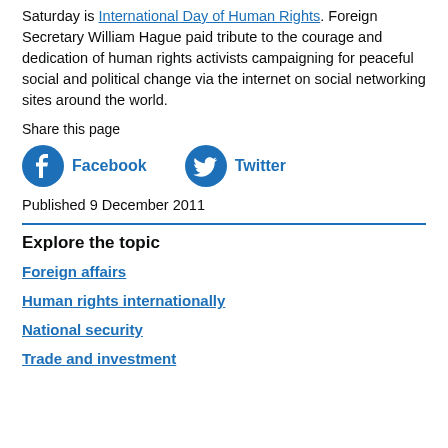Saturday is International Day of Human Rights. Foreign Secretary William Hague paid tribute to the courage and dedication of human rights activists campaigning for peaceful social and political change via the internet on social networking sites around the world.
Share this page
[Figure (infographic): Facebook and Twitter share buttons with icons]
Published 9 December 2011
Explore the topic
Foreign affairs
Human rights internationally
National security
Trade and investment